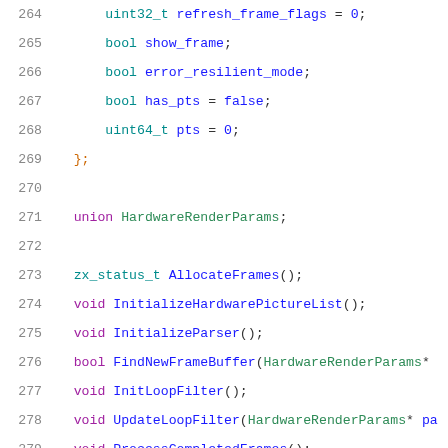Code listing lines 264–285, C++ source code showing struct members and method declarations for a hardware video decoder class.